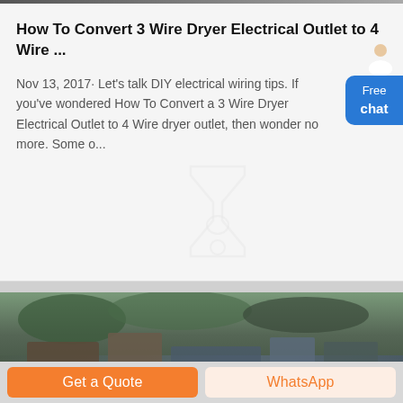How To Convert 3 Wire Dryer Electrical Outlet to 4 Wire ...
Nov 13, 2017· Let's talk DIY electrical wiring tips. If you've wondered How To Convert a 3 Wire Dryer Electrical Outlet to 4 Wire dryer outlet, then wonder no more. Some o...
[Figure (other): Faint hourglass/avatar placeholder icon]
[Figure (photo): Outdoor industrial or construction site photo with machinery/equipment, dark and muted tones]
Get a Quote
WhatsApp